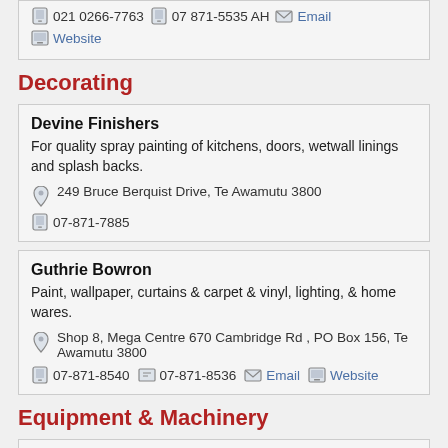021 0266-7763   07 871-5535 AH   Email   Website
Decorating
Devine Finishers
For quality spray painting of kitchens, doors, wetwall linings and splash backs.
249 Bruce Berquist Drive, Te Awamutu 3800
07-871-7885
Guthrie Bowron
Paint, wallpaper, curtains & carpet & vinyl, lighting, & home wares.
Shop 8, Mega Centre 670 Cambridge Rd , PO Box 156, Te Awamutu 3800
07-871-8540   07-871-8536   Email   Website
Equipment & Machinery
Lawnmower & Chainsaw Centre
Sales & service of domestic, ride on and commercial